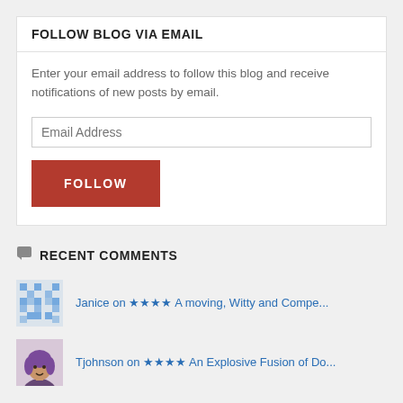FOLLOW BLOG VIA EMAIL
Enter your email address to follow this blog and receive notifications of new posts by email.
[Figure (screenshot): Email address input field with placeholder text 'Email Address']
[Figure (screenshot): Red FOLLOW button]
RECENT COMMENTS
Janice on ★★★★ A moving, Witty and Compe...
Tjohnson on ★★★★ An Explosive Fusion of Do...